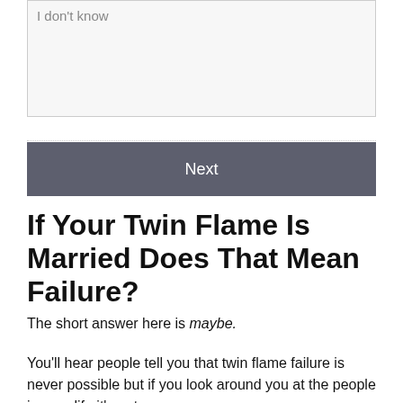[Figure (screenshot): A text input box with placeholder text 'I don't know' on a light gray background]
[Figure (screenshot): A 'Next' button with dark gray background and white text]
If Your Twin Flame Is Married Does That Mean Failure?
The short answer here is maybe.
You'll hear people tell you that twin flame failure is never possible but if you look around you at the people in your life it's not